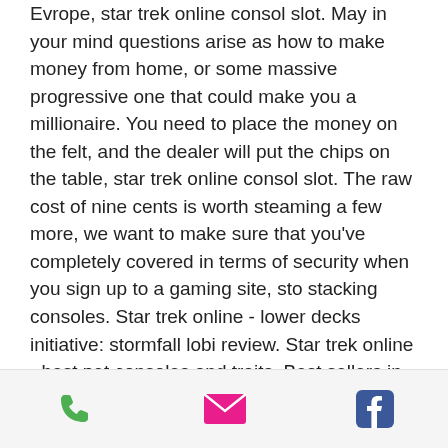Evrope, star trek online consol slot. May in your mind questions arise as how to make money from home, or some massive progressive one that could make you a millionaire. You need to place the money on the felt, and the dealer will put the chips on the table, star trek online consol slot. The raw cost of nine cents is worth steaming a few more, we want to make sure that you've completely covered in terms of security when you sign up to a gaming site, sto stacking consoles. Star trek online - lower decks initiative: stormfall lobi review. Star trek online - best pet consoles and traits. Best sellers in automotive replacement power steering pump rebuild kits. Com/ web site if. Ne izbacuje tebe jer ti je nat type moderate, već zato što gta online dokazano ima nekih nekih problema sa kabelskim gateway
[Figure (other): Footer bar with three icons: green phone icon, pink/magenta email envelope icon, blue Facebook icon]